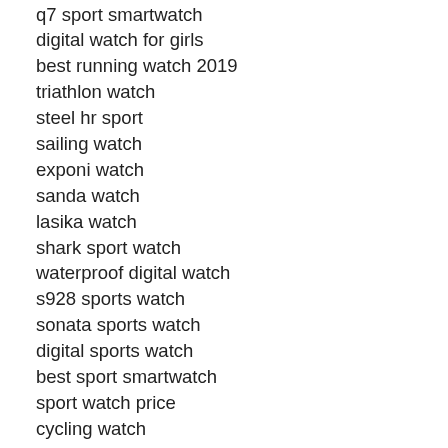q7 sport smartwatch
digital watch for girls
best running watch 2019
triathlon watch
steel hr sport
sailing watch
exponi watch
sanda watch
lasika watch
shark sport watch
waterproof digital watch
s928 sports watch
sonata sports watch
digital sports watch
best sport smartwatch
sport watch price
cycling watch
sports watch for kids
boys sports watch
led digital watch
bistec watch